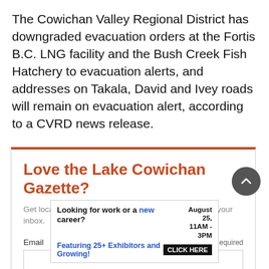The Cowichan Valley Regional District has downgraded evacuation orders at the Fortis B.C. LNG facility and the Bush Creek Fish Hatchery to evacuation alerts, and addresses on Takala, David and Ivey roads will remain on evacuation alert, according to a CVRD news release.
[Figure (other): Newsletter subscription box for Lake Cowichan Gazette with orange top border, heading 'Love the Lake Cowichan Gazette?', descriptive text, and an email input field with Required label.]
[Figure (other): Advertisement banner: 'Looking for work or a new career? August 25, 11AM-3PM. Featuring 25+ Exhibitors and Growing! CLICK HERE']